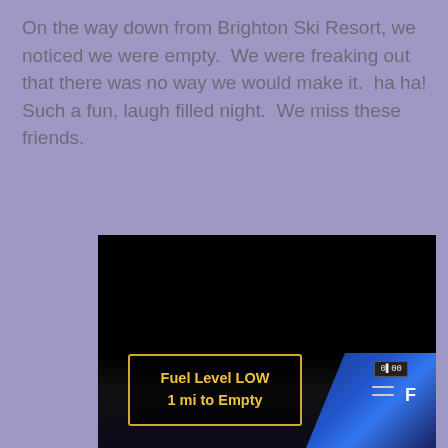On the way down from Brighton Ski Resort, we noticed we were empty.  We were freaking out that there was no way we would make it.  ha ha!  Such a fun, laugh filled night.  We miss these friends.
[Figure (photo): Dark photo of a car dashboard/instrument cluster showing a 'Fuel Level LOW 1 mi to Empty' warning message on the display, with a blue fuel gauge on the right side showing nearly empty level near F marker.]